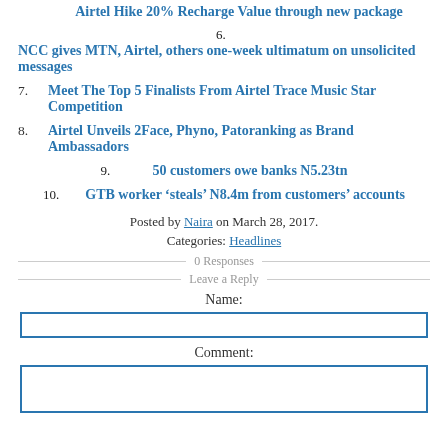5. Airtel Hike 20% Recharge Value through new package
6. NCC gives MTN, Airtel, others one-week ultimatum on unsolicited messages
7. Meet The Top 5 Finalists From Airtel Trace Music Star Competition
8. Airtel Unveils 2Face, Phyno, Patoranking as Brand Ambassadors
9. 50 customers owe banks N5.23tn
10. GTB worker ‘steals’ N8.4m from customers’ accounts
Posted by Naira on March 28, 2017.
Categories: Headlines
0 Responses
Leave a Reply
Name:
Comment: